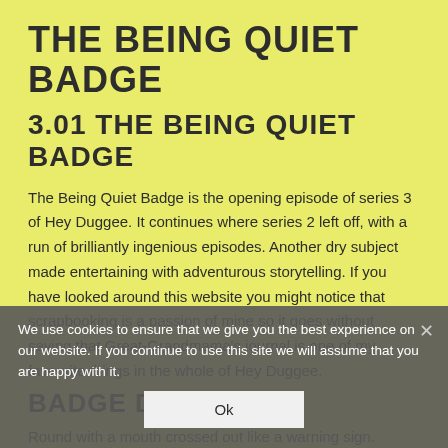THE BEING QUIET BADGE
3.01 THE BEING QUIET BADGE
The Being Quiet Badge is the opening episode of series 3 of Hey Duggee. It continues where series 2 left off, with a run of brilliantly ingenious episodes. Another dry subject made entertaining with adventurous storytelling. If you have looked around this website you might notice that scrapbooking is a passion of mine so it goes without saying that Great-Grandmama's journal is one of my favourite things in the whole of Hey Duggee.
BADGE DESIGN
Round with a mouth crossed out like a warning sign.
We use cookies to ensure that we give you the best experience on our website. If you continue to use this site we will assume that you are happy with it.